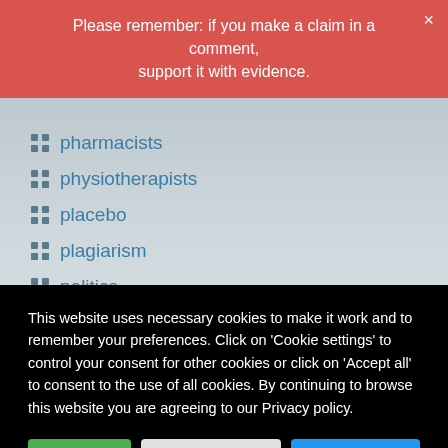Please remember: if you make a claim in a comment, support it with evidence.
pharmacists
physiotherapists
placebo
plagiarism
politics
post-operative ileus
pregnancy
prevention
Prince Charles
proctophasia
This website uses necessary cookies to make it work and to remember your preferences. Click on 'Cookie settings' to control your consent for other cookies or click on 'Accept all' to consent to the use of all cookies. By continuing to browse this website you are agreeing to our Privacy policy.